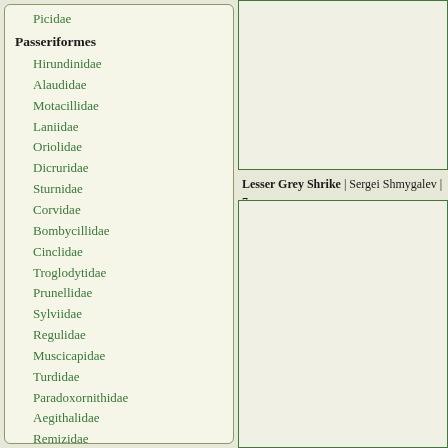Picidae
Passeriformes
Hirundinidae
Alaudidae
Motacillidae
Laniidae
Oriolidae
Dicruridae
Sturnidae
Corvidae
Bombycillidae
Cinclidae
Troglodytidae
Prunellidae
Sylviidae
Regulidae
Muscicapidae
Turdidae
Paradoxornithidae
Aegithalidae
Remizidae
Paridae
Sittidae
Certhiidae
Ploceidae
Fringillidae
Emberizidae
[Figure (photo): Bird photo top right - Lesser Grey Shrike]
Lesser Grey Shrike | Sergei Shmygalev | 7
[Figure (photo): Bird photo bottom right - Lesser Grey Shrike second image]